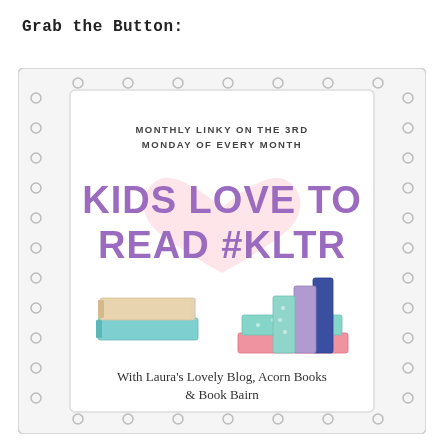Grab the Button:
[Figure (illustration): A promotional button/badge for 'Kids Love To Read #KLTR' monthly linky event. Contains text 'MONTHLY LINKY ON THE 3RD MONDAY OF EVERY MONTH', large purple text 'KIDS LOVE TO READ #KLTR', illustrated stacks of colorful books, and text 'With Laura's Lovely Blog, Acorn Books & Book Bairn'. Decorated with a dotted border and heart background element.]